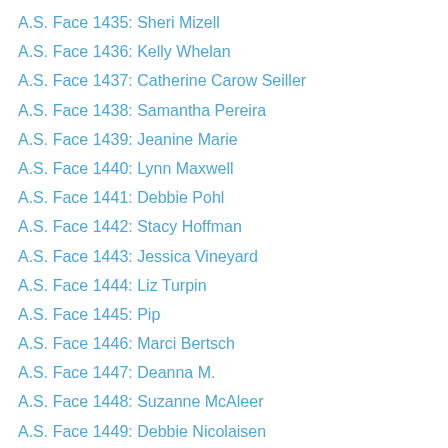A.S. Face 1435: Sheri Mizell
A.S. Face 1436: Kelly Whelan
A.S. Face 1437: Catherine Carow Seiller
A.S. Face 1438: Samantha Pereira
A.S. Face 1439: Jeanine Marie
A.S. Face 1440: Lynn Maxwell
A.S. Face 1441: Debbie Pohl
A.S. Face 1442: Stacy Hoffman
A.S. Face 1443: Jessica Vineyard
A.S. Face 1444: Liz Turpin
A.S. Face 1445: Pip
A.S. Face 1446: Marci Bertsch
A.S. Face 1447: Deanna M.
A.S. Face 1448: Suzanne McAleer
A.S. Face 1449: Debbie Nicolaisen
A.S. Face 1450: Kim
A.S. Face 1451: Lesa Tucker
A.S. Face 1452: Maivis
A.S. Face 1453: Jennifer Brindley
A.S. Face 1454: Lauren